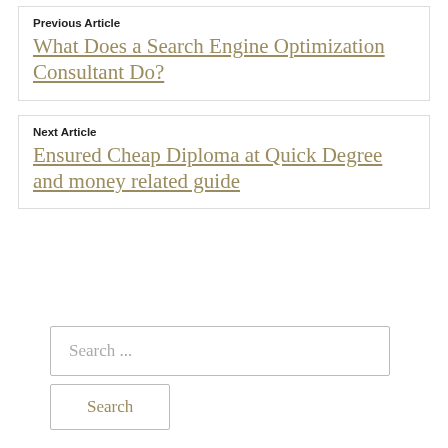Previous Article
What Does a Search Engine Optimization Consultant Do?
Next Article
Ensured Cheap Diploma at Quick Degree and money related guide
Search ...
Search